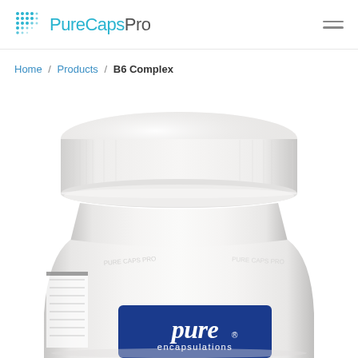PureCapsPro
Home / Products / B6 Complex
[Figure (photo): White supplement bottle with white cap showing Pure Encapsulations label with dark blue rectangle logo, photographed from above on white background. The bottle shows 'pure encapsulations' text in white on a dark blue label.]